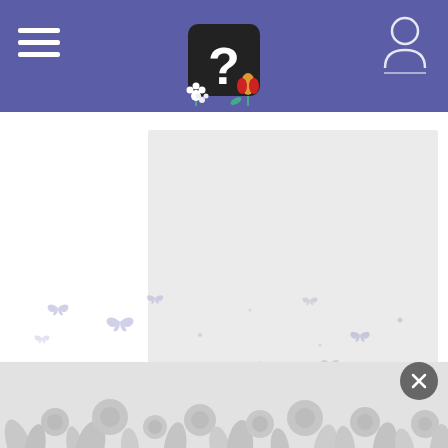[Figure (screenshot): Website header navigation bar with purple/indigo background. Left side has a hamburger menu (three white horizontal lines). Center has a logo showing a black question mark sign with flowers and tulips. Right side has a user/profile icon in white outline with a horizontal line below it.]
[Figure (screenshot): Main content area showing a large light gray rectangular card/placeholder on a white background, positioned slightly right of center.]
[Figure (illustration): Scattered small butterfly silhouettes in light lavender/blue color scattered across the white background area below the card.]
[Figure (illustration): Bottom floral banner with gray silhouettes of flowers, leaves, and plants against a light gray background. A dark circular close button with an X is positioned in the bottom right corner.]